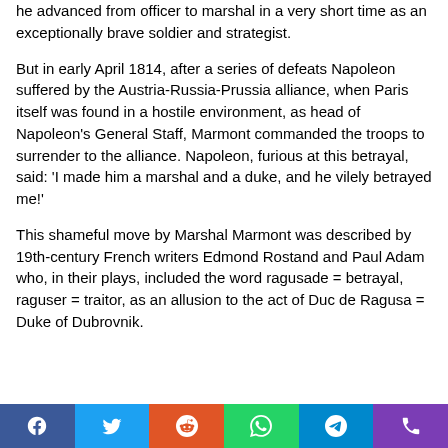he advanced from officer to marshal in a very short time as an exceptionally brave soldier and strategist.
But in early April 1814, after a series of defeats Napoleon suffered by the Austria-Russia-Prussia alliance, when Paris itself was found in a hostile environment, as head of Napoleon's General Staff, Marmont commanded the troops to surrender to the alliance. Napoleon, furious at this betrayal, said: 'I made him a marshal and a duke, and he vilely betrayed me!'
This shameful move by Marshal Marmont was described by 19th-century French writers Edmond Rostand and Paul Adam who, in their plays, included the word ragusade = betrayal, raguser = traitor, as an allusion to the act of Duc de Ragusa = Duke of Dubrovnik.
[Figure (other): Social media sharing bar with icons for Facebook, Twitter, Reddit, WhatsApp, Telegram, and phone/viber]